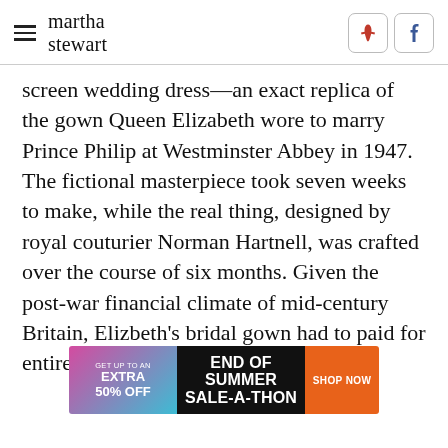martha stewart
screen wedding dress—an exact replica of the gown Queen Elizabeth wore to marry Prince Philip at Westminster Abbey in 1947. The fictional masterpiece took seven weeks to make, while the real thing, designed by royal couturier Norman Hartnell, was crafted over the course of six months. Given the post-war financial climate of mid-century Britain, Elizbeth's bridal gown had to paid for entirely with ration coupons.
[Figure (infographic): Advertisement banner: GET UP TO AN EXTRA 50% OFF — END OF SUMMER SALE-A-THON — SHOP NOW]